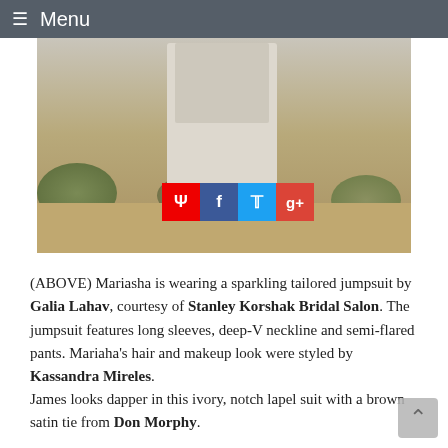≡ Menu
[Figure (photo): Photo of a person wearing a sparkling tailored jumpsuit outdoors in a desert landscape with social sharing buttons (Pinterest, Facebook, Twitter, Google+) overlaid at bottom]
(ABOVE) Mariasha is wearing a sparkling tailored jumpsuit by Galia Lahav, courtesy of Stanley Korshak Bridal Salon. The jumpsuit features long sleeves, deep-V neckline and semi-flared pants. Mariaha's hair and makeup look were styled by Kassandra Mireles.
James looks dapper in this ivory, notch lapel suit with a brown satin tie from Don Morphy.